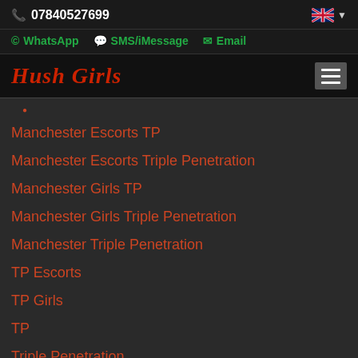📞 07840527699
WhatsApp  SMS/iMessage  Email
Hush Girls
Manchester Escorts TP
Manchester Escorts Triple Penetration
Manchester Girls TP
Manchester Girls Triple Penetration
Manchester Triple Penetration
TP Escorts
TP Girls
TP
Triple Penetration